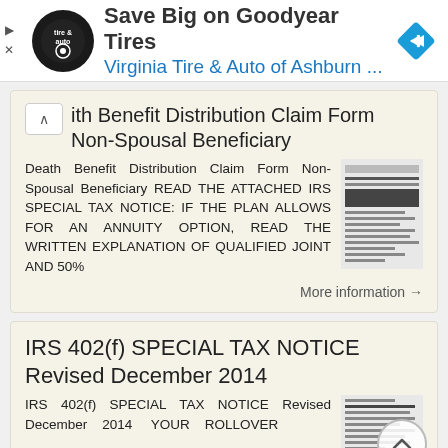[Figure (screenshot): Advertisement banner for Virginia Tire & Auto of Ashburn - Save Big on Goodyear Tires]
Death Benefit Distribution Claim Form Non-Spousal Beneficiary
Death Benefit Distribution Claim Form Non-Spousal Beneficiary READ THE ATTACHED IRS SPECIAL TAX NOTICE: IF THE PLAN ALLOWS FOR AN ANNUITY OPTION, READ THE WRITTEN EXPLANATION OF QUALIFIED JOINT AND 50%
More information →
IRS 402(f) SPECIAL TAX NOTICE Revised December 2014
IRS 402(f) SPECIAL TAX NOTICE Revised December 2014 YOUR ROLLOVER